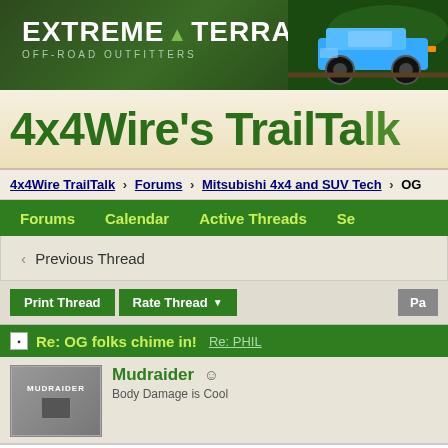[Figure (screenshot): ExtremeTerrain Off-Road Outfitters banner ad with blue Jeep Wrangler in forest]
4x4Wire's TrailTalk
4x4Wire TrailTalk > Forums > Mitsubishi 4x4 and SUV Tech > OG
Forums   Calendar   Active Threads   Se
< Previous Thread
Print Thread   Rate Thread ▼
Re: OG folks chime in! Re: PHIL
Mudraider
Body Damage is Cool
I haven't said hello on this post, but I've been making plenty of new thr